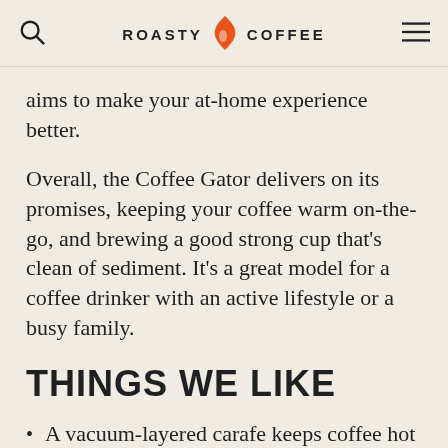ROASTY COFFEE
aims to make your at-home experience better.
Overall, the Coffee Gator delivers on its promises, keeping your coffee warm on-the-go, and brewing a good strong cup that’s clean of sediment. It’s a great model for a coffee drinker with an active lifestyle or a busy family.
THINGS WE LIKE
A vacuum-layered carafe keeps coffee hot longer
Durable stainless steel ensures you basically